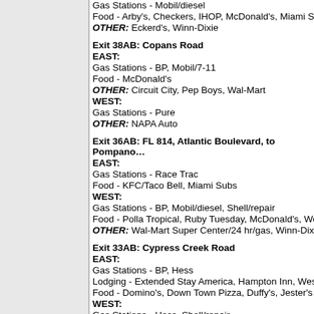Gas Stations - Mobil/diesel
Food - Arby's, Checkers, IHOP, McDonald's, Miami Su…
OTHER: Eckerd's, Winn-Dixie
Exit 38AB: Copans Road
EAST:
Gas Stations - BP, Mobil/7-11
Food - McDonald's
OTHER: Circuit City, Pep Boys, Wal-Mart
WEST:
Gas Stations - Pure
OTHER: NAPA Auto
Exit 36AB: FL 814, Atlantic Boulevard, to Pompano…
EAST:
Gas Stations - Race Trac
Food - KFC/Taco Bell, Miami Subs
WEST:
Gas Stations - BP, Mobil/diesel, Shell/repair
Food - Polla Tropical, Ruby Tuesday, McDonald's, We…
OTHER: Wal-Mart Super Center/24 hr/gas, Winn-Dixi…
Exit 33AB: Cypress Creek Road
EAST:
Gas Stations - BP, Hess
Lodging - Extended Stay America, Hampton Inn, West…
Food - Domino's, Down Town Pizza, Duffy's, Jester's…
WEST:
Gas Stations - Hess, Shell/repair
Lodging - LaQuinta, Marriott, Sheraton Suites
Food - Arby's, Bennigan's, Burger King, Champs Grill…